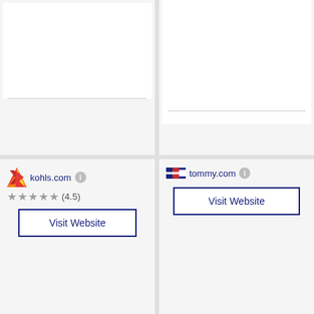[Figure (screenshot): Top-left card with white image area and horizontal divider line at bottom]
[Figure (screenshot): Top-right card with white image area and horizontal divider line near bottom]
[Figure (logo): Kohl's logo - stylized K in red/orange/yellow gradient triangle]
kohls.com
(4.5)
Visit Website
[Figure (logo): Tommy Hilfiger logo - red white and blue flag/rectangle icon]
tommy.com
Visit Website